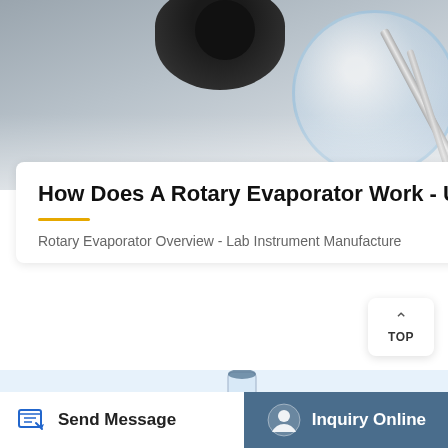[Figure (photo): Close-up photograph of a rotary evaporator lab equipment, showing black knob/clamp mechanism and glass flask components]
How Does A Rotary Evaporator Work - USA Lab
Rotary Evaporator Overview - Lab Instrument Manufacture
[Figure (infographic): Diagram of a rotary evaporator system on a light blue background, showing Condenser and Vacuum Gauge labeled components with connecting lines]
Send Message
Inquiry Online